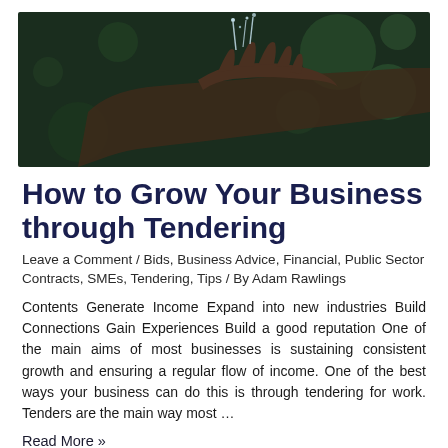[Figure (photo): A hand held open with water or small seeds falling onto it, against a dark green blurred background.]
How to Grow Your Business through Tendering
Leave a Comment / Bids, Business Advice, Financial, Public Sector Contracts, SMEs, Tendering, Tips / By Adam Rawlings
Contents Generate Income Expand into new industries Build Connections Gain Experiences Build a good reputation One of the main aims of most businesses is sustaining consistent growth and ensuring a regular flow of income. One of the best ways your business can do this is through tendering for work. Tenders are the main way most …
Read More »